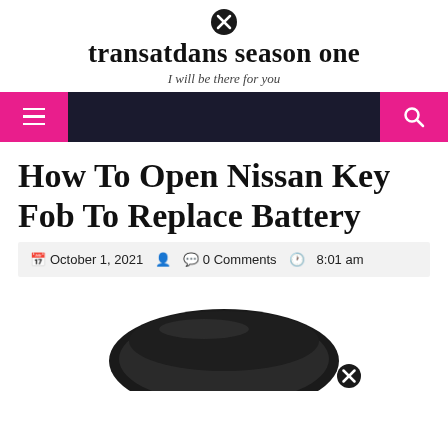transatdans season one — I will be there for you
[Figure (screenshot): Navigation bar with hamburger menu button on left (pink background) and search icon on right (pink background), dark navy background center]
How To Open Nissan Key Fob To Replace Battery
October 1, 2021   0 Comments   8:01 am
[Figure (photo): Partial photo of a Nissan key fob, dark/black color, showing the top curve of the device]